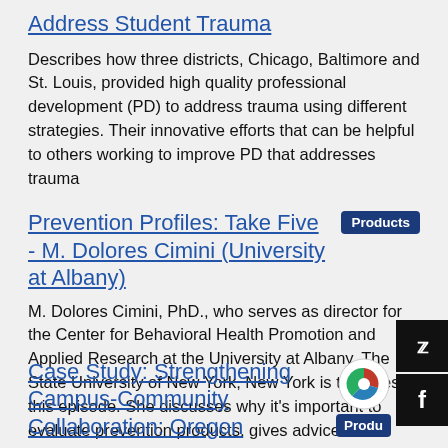Address Student Trauma
Describes how three districts, Chicago, Baltimore and St. Louis, provided high quality professional development (PD) to address trauma using different strategies. Their innovative efforts that can be helpful to others working to improve PD that addresses trauma
Prevention Profiles: Take Five - M. Dolores Cimini (University at Albany)
M. Dolores Cimini, PhD., who serves as director for the Center for Behavioral Health Promotion and Applied Research at the University at Albany, The State University of New York, New York is the guest this episode. She discusses why it's important to evaluate prevention products, gives advice about working with students, and much more.
Case Study: Strengthening Campus-Community Collaboration: Oregon